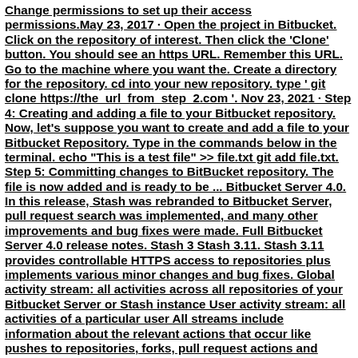Change permissions to set up their access permissions.May 23, 2017 · Open the project in Bitbucket. Click on the repository of interest. Then click the 'Clone' button. You should see an https URL. Remember this URL. Go to the machine where you want the. Create a directory for the repository. cd into your new repository. type ' git clone https://the_url_from_step_2.com '. Nov 23, 2021 · Step 4: Creating and adding a file to your Bitbucket repository. Now, let's suppose you want to create and add a file to your Bitbucket Repository. Type in the commands below in the terminal. echo "This is a test file" >> file.txt git add file.txt. Step 5: Committing changes to BitBucket repository. The file is now added and is ready to be ... Bitbucket Server 4.0. In this release, Stash was rebranded to Bitbucket Server, pull request search was implemented, and many other improvements and bug fixes were made. Full Bitbucket Server 4.0 release notes. Stash 3 Stash 3.11. Stash 3.11 provides controllable HTTPS access to repositories plus implements various minor changes and bug fixes. Global activity stream: all activities across all repositories of your Bitbucket Server or Stash instance User activity stream: all activities of a particular user All streams include information about the relevant actions that occur like pushes to repositories, forks, pull request actions and comments, branch creation / deletion, commit ...Manage Bitbucket Users LoginAsk is here to help you access Manage Bitbucket Users quickly and handle each specific case you encounter.